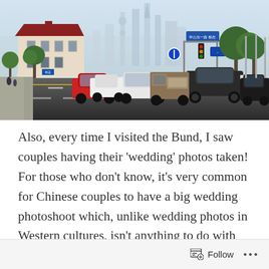[Figure (photo): Street scene at the Bund in Shanghai, China. Shows a busy road with cars and trucks, colonial-style building with red roof on left, modern skyscrapers including Shanghai Tower in background, traffic signals, road signs, and lush green trees on the right side.]
Also, every time I visited the Bund, I saw couples having their ‘wedding’ photos taken! For those who don’t know, it’s very common for Chinese couples to have a big wedding photoshoot which, unlike wedding photos in Western cultures, isn’t anything to do with their actual wedding day! It usually takes place months before or after the couple are married
Follow ...